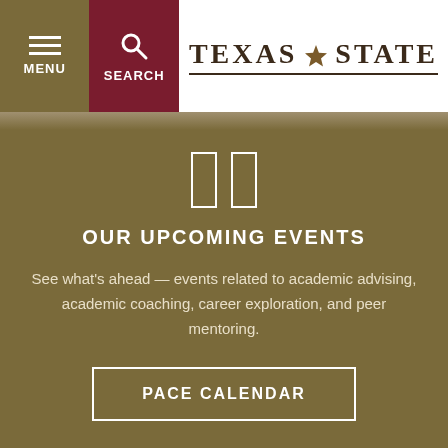MENU | SEARCH | TEXAS STATE
[Figure (logo): Texas State University logo with star emblem and text TEXAS STATE]
[Figure (illustration): Pause/stop icon with two white rectangular bars on brown background]
OUR UPCOMING EVENTS
See what's ahead — events related to academic advising, academic coaching, career exploration, and peer mentoring.
PACE CALENDAR